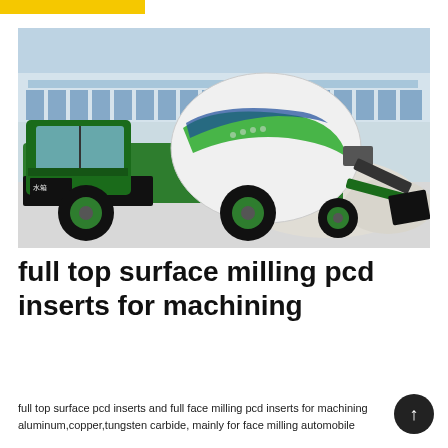[Figure (photo): Green self-loading concrete mixer truck parked in front of a large industrial building, with piles of sand/aggregate in the background. The truck has a white rotating drum with green stripes, Chinese text '水箱' on the side.]
full top surface milling pcd inserts for machining
full top surface pcd inserts and full face milling pcd inserts for machining aluminum,copper,tungsten carbide, mainly for face milling automobile